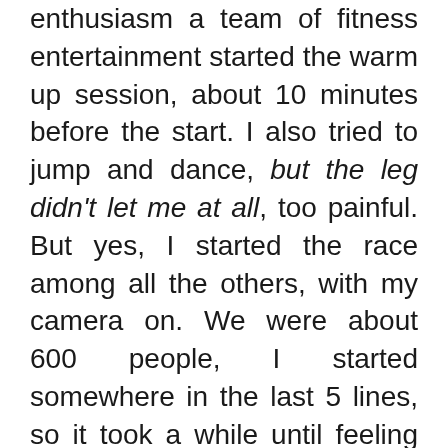enthusiasm a team of fitness entertainment started the warm up session, about 10 minutes before the start. I also tried to jump and dance, but the leg didn't let me at all, too painful. But yes, I started the race among all the others, with my camera on. We were about 600 people, I started somewhere in the last 5 lines, so it took a while until feeling the running. We crossed the centre of the beautiful Tromso Island under the applause and encouragements of the public, having all those red lightening hearts above our heads.

The trail race was paved on the both sides with large round short candles, so